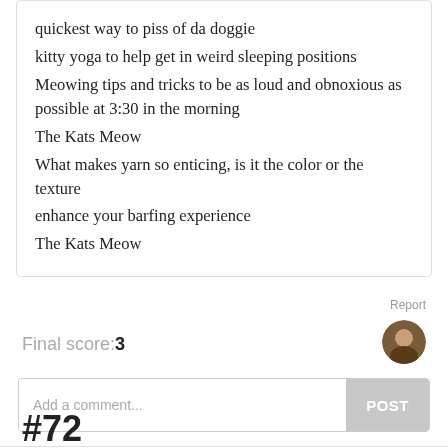quickest way to piss of da doggie
kitty yoga to help get in weird sleeping positions
Meowing tips and tricks to be as loud and obnoxious as possible at 3:30 in the morning
The Kats Meow
What makes yarn so enticing, is it the color or the texture
enhance your barfing experience
The Kats Meow
Report
Final score:3
Add a comment...
POST
#72